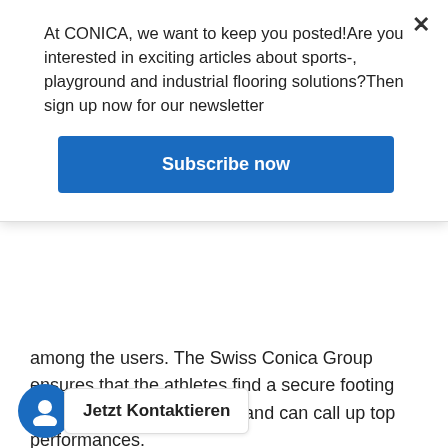At CONICA, we want to keep you posted!Are you interested in exciting articles about sports-, playground and industrial flooring solutions?Then sign up now for our newsletter
Subscribe now
among the users. The Swiss Conica Group ensures that the athletes find a secure footing on innovative sports floors and can call up top performances.
The sports ground in the Olympic Park is impressively large: eleven sports halls, 15 football pitches, seven beach volleyball courts, a climbing tower, a tennis court with 22 courts, a hockey and a practice facility have been spread over 34 hectares. past. All the old buildings erected in 1971 were dilapidated and
Jetzt Kontaktieren